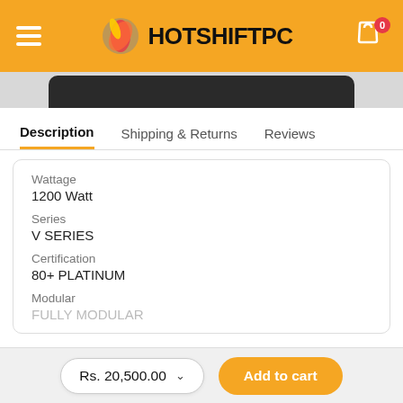HOTSHIFTPC
Description | Shipping & Returns | Reviews
Wattage
1200 Watt
Series
V SERIES
Certification
80+ PLATINUM
Modular
FULLY MODULAR
Rs. 20,500.00
Add to cart